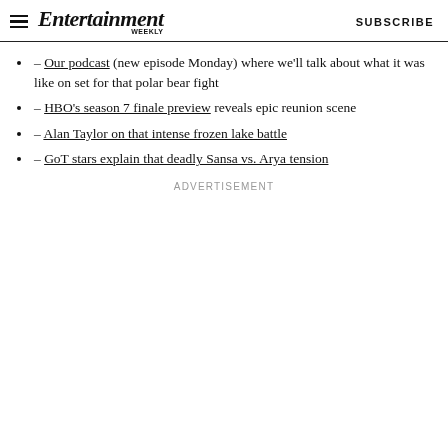Entertainment Weekly | SUBSCRIBE
– Our podcast (new episode Monday) where we'll talk about what it was like on set for that polar bear fight
– HBO's season 7 finale preview reveals epic reunion scene
– Alan Taylor on that intense frozen lake battle
– GoT stars explain that deadly Sansa vs. Arya tension
ADVERTISEMENT